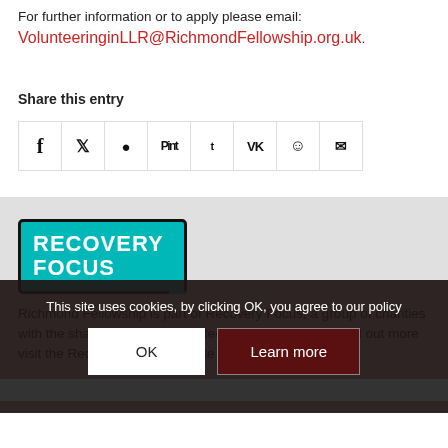For further information or to apply please email: VolunteeringinLLR@RichmondFellowship.org.uk.
Share this entry
[Figure (infographic): Row of social sharing icons in bordered cells: Facebook (f), Twitter (bird), WhatsApp, Pinterest (Pint), Tumblr (t), VK (VK), Reddit alien, Email envelope]
[Figure (logo): Recovery Focus logo: teal rounded rectangle with white bold text RECOVERY FOCUS, black border, notch on right side]
Richmond Fellowship is part of Recovery Focus, a group of charities with the shared aim to Inspire Recovery Together | To find out more visit the Recovery Focus website
This site uses cookies, by clicking OK, you agree to our policy
OK
Learn more